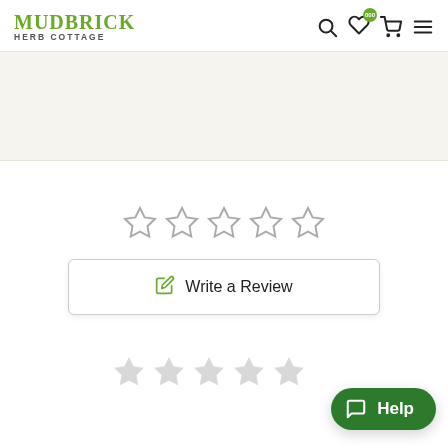MUDBRICK HERB COTTAGE
[Figure (screenshot): Hero/banner image area with light beige background, partially visible content region]
[Figure (other): Five empty star rating icons (outline only, no fill) for user rating input]
Write a Review
[Figure (other): Five gray star rating icons (partially visible at bottom of page)]
[Figure (other): Green Help chat button in bottom right corner]